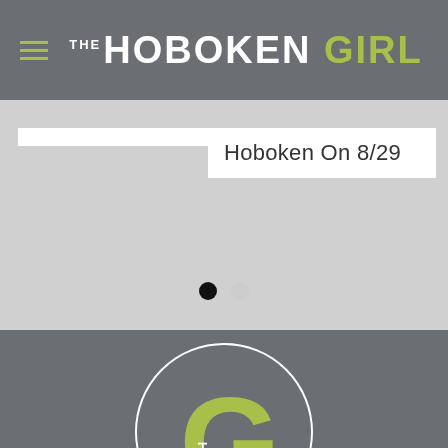THE HOBOKEN GIRL
[Figure (screenshot): Slider section with white bar on left and text box reading 'Hoboken On 8/29' on right, with two navigation dots below]
[Figure (logo): The Hoboken Girl circular logo with large green G and vertical HOBOKEN text]
ABOUT